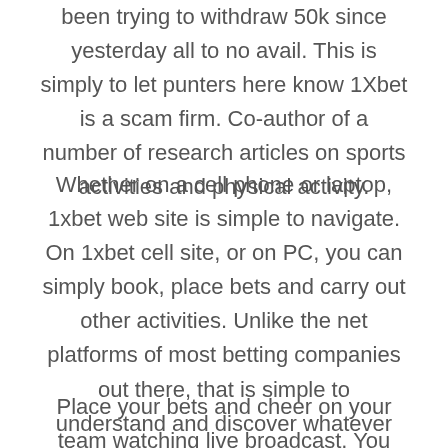been trying to withdraw 50k since yesterday all to no avail. This is simply to let punters here know 1Xbet is a scam firm. Co-author of a number of research articles on sports activities and physical activity.
Whether on a cell phone or laptop, 1xbet web site is simple to navigate. On 1xbet cell site, or on PC, you can simply book, place bets and carry out other activities. Unlike the net platforms of most betting companies out there, that is simple to understand and discover whatever you need.
Place your bets and cheer on your team watching live broadcast. You could make a